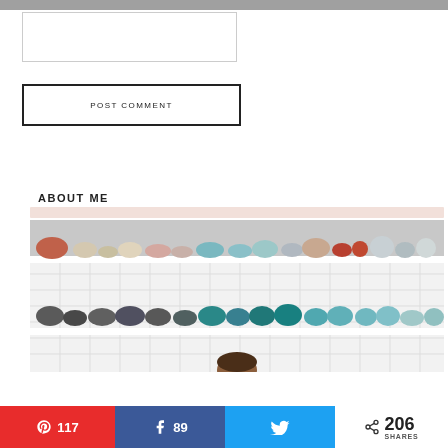[Figure (other): Empty comment text area input box]
POST COMMENT
ABOUT ME
[Figure (photo): Photo of kitchen open shelves with colorful ceramic bowls, teapots, and dishes arranged on two white shelves against white subway tile wall. A person's head is partially visible at the bottom.]
117  89  206 SHARES